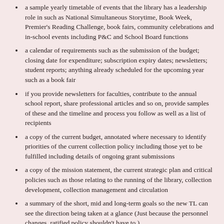a sample yearly timetable of events that the library has a leadership role in such as National Simultaneous Storytime, Book Week, Premier's Reading Challenge, book fairs, community celebrations and in-school events including P&C and School Board functions
a calendar of requirements such as the submission of the budget; closing date for expenditure; subscription expiry dates; newsletters; student reports; anything already scheduled for the upcoming year such as a book fair
if you provide newsletters for faculties, contribute to the annual school report, share professional articles and so on, provide samples of these and the timeline and process you follow as well as a list of recipients
a copy of the current budget, annotated where necessary to identify priorities of the current collection policy including those yet to be fulfilled including details of ongoing grant submissions
a copy of the mission statement, the current strategic plan and critical policies such as those relating to the running of the library, collection development, collection management and circulation
a summary of the short, mid and long-term goals so the new TL can see the direction being taken at a glance (Just because the personnel changes, ratified policy shouldn't have to.)